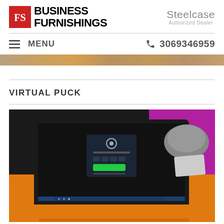[Figure (logo): Business Furnishings logo with red icon and bold text]
[Figure (logo): Steelcase Authorized Dealer logo in gray]
≡  MENU
☎ 3069346959
[Figure (photo): Narrow banner strip photo of office furniture/environment]
VIRTUAL PUCK
[Figure (photo): Photo of a Microsoft Surface tablet on an orange desk showing a software interface with a dark screen and green button, with a keyboard, purple wall, and gray curved object in background]